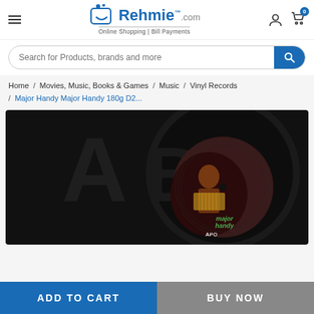Rehmie.com Online Shopping | Bill Payments
Search for Products, brands and more
Home / Movies, Music, Books & Games / Music / Vinyl Records / Major Handy Major Handy 180g D2...
[Figure (photo): Product image of Major Handy vinyl record showing a dark background with a vinyl record and a circular album label featuring a musician playing accordion, labeled 'major handy' with APO logo]
ADD TO CART
BUY NOW